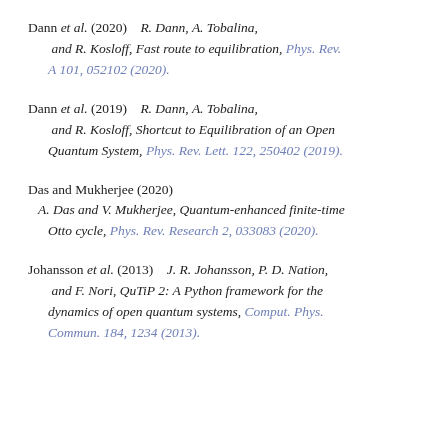Dann et al. (2020) R. Dann, A. Tobalina, and R. Kosloff, Fast route to equilibration, Phys. Rev. A 101, 052102 (2020).
Dann et al. (2019) R. Dann, A. Tobalina, and R. Kosloff, Shortcut to Equilibration of an Open Quantum System, Phys. Rev. Lett. 122, 250402 (2019).
Das and Mukherjee (2020) A. Das and V. Mukherjee, Quantum-enhanced finite-time Otto cycle, Phys. Rev. Research 2, 033083 (2020).
Johansson et al. (2013) J. R. Johansson, P. D. Nation, and F. Nori, QuTiP 2: A Python framework for the dynamics of open quantum systems, Comput. Phys. Commun. 184, 1234 (2013).